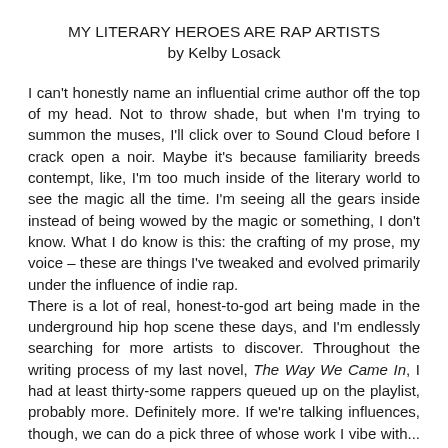MY LITERARY HEROES ARE RAP ARTISTS
by Kelby Losack
I can't honestly name an influential crime author off the top of my head. Not to throw shade, but when I'm trying to summon the muses, I'll click over to Sound Cloud before I crack open a noir. Maybe it's because familiarity breeds contempt, like, I'm too much inside of the literary world to see the magic all the time. I'm seeing all the gears inside instead of being wowed by the magic or something, I don't know. What I do know is this: the crafting of my prose, my voice – these are things I've tweaked and evolved primarily under the influence of indie rap.
There is a lot of real, honest-to-god art being made in the underground hip hop scene these days, and I'm endlessly searching for more artists to discover. Throughout the writing process of my last novel, The Way We Came In, I had at least thirty-some rappers queued up on the playlist, probably more. Definitely more. If we're talking influences, though, we can do a pick three of whose work I vibe with... who I've learned the most from.